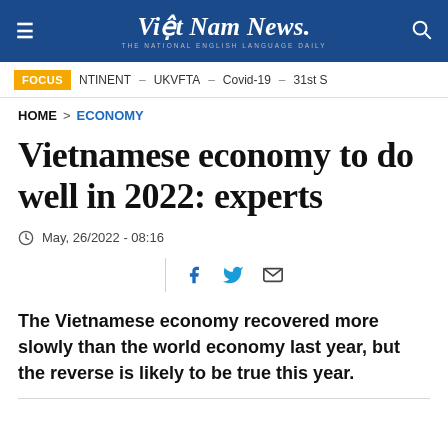Việt Nam News. THE NATIONAL ENGLISH LANGUAGE DAILY
FOCUS  NTINENT – UKVFTA – Covid-19 – 31st S
HOME > ECONOMY
Vietnamese economy to do well in 2022: experts
May, 26/2022 - 08:16
The Vietnamese economy recovered more slowly than the world economy last year, but the reverse is likely to be true this year.